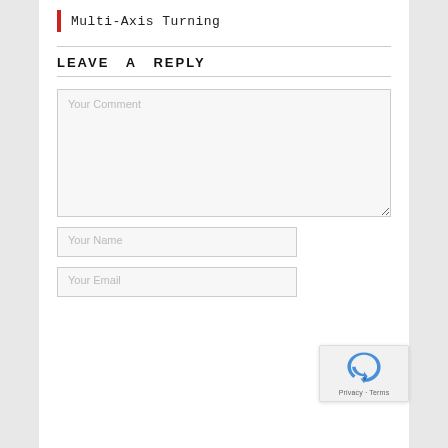Multi-Axis Turning
LEAVE A REPLY
Your Comment
Your Name
Your Email